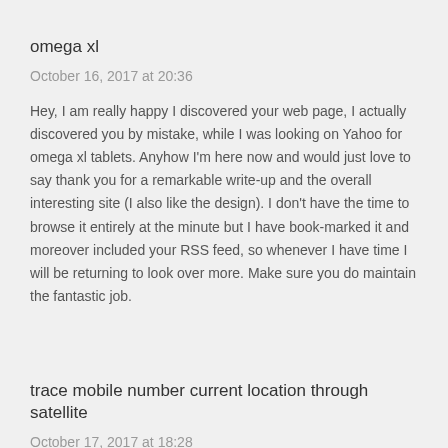omega xl
October 16, 2017 at 20:36
Hey, I am really happy I discovered your web page, I actually discovered you by mistake, while I was looking on Yahoo for omega xl tablets. Anyhow I'm here now and would just love to say thank you for a remarkable write-up and the overall interesting site (I also like the design). I don't have the time to browse it entirely at the minute but I have book-marked it and moreover included your RSS feed, so whenever I have time I will be returning to look over more. Make sure you do maintain the fantastic job.
trace mobile number current location through satellite
October 17, 2017 at 18:28
I was talking to a good friend of mine regarding this article and also about how to track a mobile number as well. I believe you made a number of good points on this page, we're excited to continue reading information from